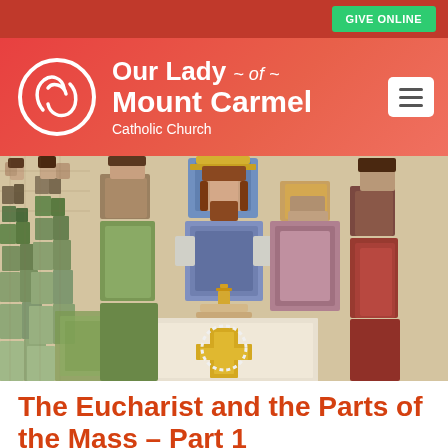GIVE ONLINE
[Figure (logo): Our Lady of Mount Carmel Catholic Church logo with circular emblem and church name text on red gradient background]
[Figure (photo): Mosaic artwork depicting the Last Supper / Eucharist scene with Jesus and disciples around a table, featuring a cross motif on the altar cloth]
The Eucharist and the Parts of the Mass - Part 1